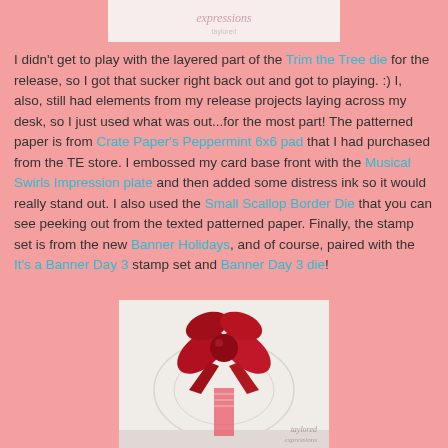[Figure (photo): Top partial image showing a logo/banner with cursive text 'expressions' on a light background]
I didn't get to play with the layered part of the Trim the Tree die for the release, so I got that sucker right back out and got to playing. :)  I, also, still had elements from my release projects laying across my desk, so I just used what was out...for the most part!  The patterned paper is from Crate Paper's Peppermint 6x6 pad that I had purchased from the TE store.   I embossed my card base front with the Musical Swirls Impression plate and then added some distress ink so it would really stand out.  I also used the Small Scallop Border Die that you can see peeking out from the texted patterned paper.    Finally, the stamp set is from the new Banner Holidays, and of course, paired with the It's a Banner Day 3 stamp set and Banner Day 3 die!
[Figure (photo): Photo of a handmade greeting card featuring a large red bow/flower embellishment on white embossed card stock with scallop border details, with 'taylored expressions' watermark in lower right]